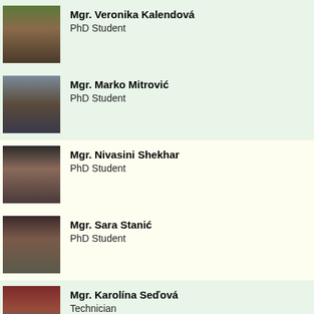[Figure (photo): Photo of Mgr. Veronika Kalendová]
Mgr. Veronika Kalendová
PhD Student
[Figure (photo): Photo of Mgr. Marko Mitrović]
Mgr. Marko Mitrović
PhD Student
[Figure (photo): Photo of Mgr. Nivasini Shekhar]
Mgr. Nivasini Shekhar
PhD Student
[Figure (photo): Photo of Mgr. Sara Stanić]
Mgr. Sara Stanić
PhD Student
[Figure (photo): Photo of Mgr. Karolína Seďová]
Mgr. Karolína Seďová
Technician
[Figure (photo): Partial photo of next person]